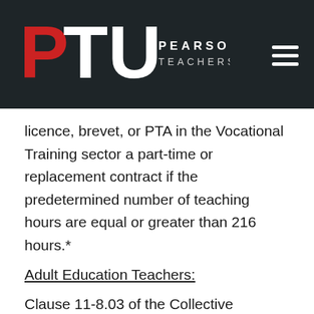PTU PEARSON TEACHERS UNION
licence, brevet, or PTA in the Vocational Training sector a part-time or replacement contract if the predetermined number of teaching hours are equal or greater than 216 hours.*
Adult Education Teachers:
Clause 11-8.03 of the Collective Agreement states that the board shall offer a part-time or replacement